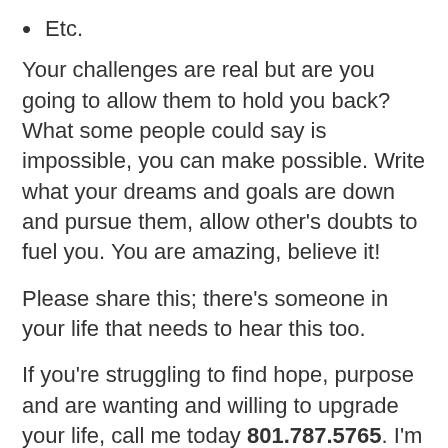Etc.
Your challenges are real but are you going to allow them to hold you back? What some people could say is impossible, you can make possible. Write what your dreams and goals are down and pursue them, allow other's doubts to fuel you. You are amazing, believe it!
Please share this; there's someone in your life that needs to hear this too.
If you're struggling to find hope, purpose and are wanting and willing to upgrade your life, call me today 801.787.5765. I'm here to help you.